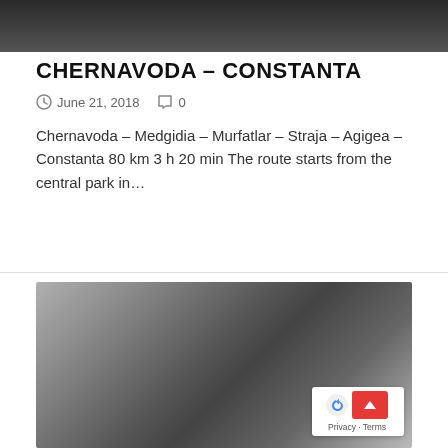[Figure (photo): Dark blurred banner image at the top of the page]
CHERNAVODA – CONSTANTA
June 21, 2018   0
Chernavoda – Medgidia – Murfatlar – Straja – Agigea – Constanta 80 km 3 h 20 min The route starts from the central park in…
[Figure (photo): Large blurred dark photograph, likely a route or landscape image, with a Google Maps back-to-top overlay in the bottom right corner]